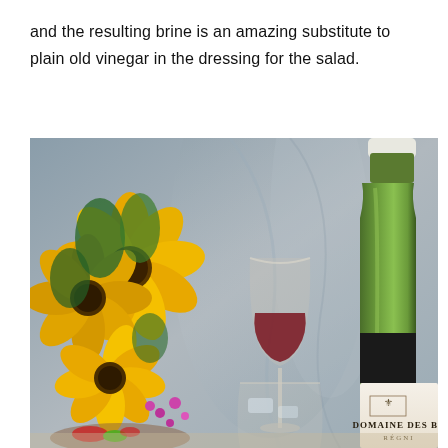and the resulting brine is an amazing substitute to plain old vinegar in the dressing for the salad.
[Figure (photo): A photograph showing a green wine bottle labeled 'Domaine des Br...' (Régnié), a red wine glass with wine, a water glass, sunflowers, and colorful flowers arranged on a table with a grey fabric background.]